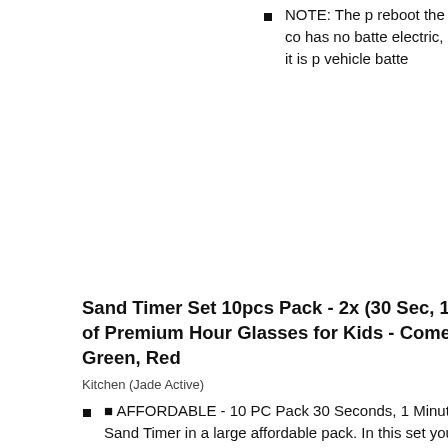NOTE: The p reboot the co has no batte electric, it is p vehicle batte
Sand Timer Set 10pcs Pack - 2x (30 Sec, 1 Min, 2 Min, 3 Min, 5 Min) - Colorful Set of Premium Hour Glasses for Kids - Comes in Premium Box - Color: Blue, Green, Red
Kitchen (Jade Active)
⬛ AFFORDABLE - 10 PC Pack 30 Seconds, 1 Minute, 2 Minutes, 3 Minutes and 5 Minutes (2 of each) Sand Timer in a large affordable pack. In this set you will get 2...
⬛ SCHOOL COMBO - Every teacher knows that Sand Timers are a great tool for every classroom. Use it to focus for a specific time on something and learn to improve.
⬛ SOLID QUALITY - Durable PVC, colorful, high quality sand and a good finish make this Sand Timer one of the best compared to its